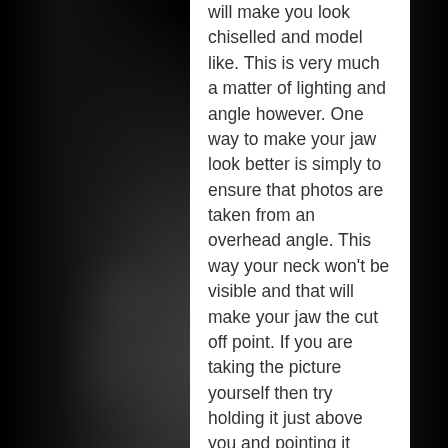will make you look chiselled and model like. This is very much a matter of lighting and angle however. One way to make your jaw look better is simply to ensure that photos are taken from an overhead angle. This way your neck won't be visible and that will make your jaw the cut off point. If you are taking the picture yourself then try holding it just above you and pointing it down.
If you don't have that option then another